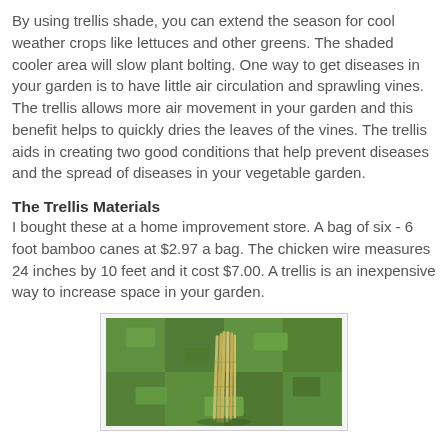By using trellis shade, you can extend the season for cool weather crops like lettuces and other greens. The shaded cooler area will slow plant bolting. One way to get diseases in your garden is to have little air circulation and sprawling vines. The trellis allows more air movement in your garden and this benefit helps to quickly dries the leaves of the vines. The trellis aids in creating two good conditions that help prevent diseases and the spread of diseases in your vegetable garden.
The Trellis Materials
I bought these at a home improvement store. A bag of six - 6 foot bamboo canes at $2.97 a bag. The chicken wire measures 24 inches by 10 feet and it cost $7.00. A trellis is an inexpensive way to increase space in your garden.
[Figure (photo): Photo of bamboo canes bundled together lying on green grass lawn.]